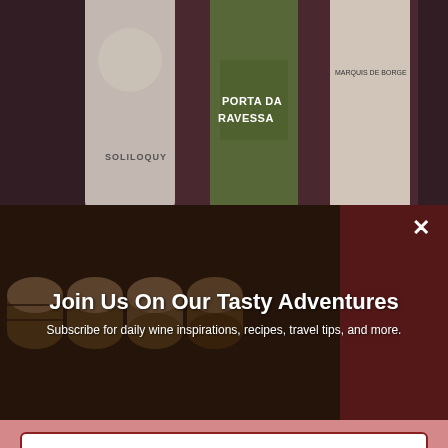[Figure (photo): Wine bottles including Soliloquy, Porta da Ravessa, and Marquis de Borge labels arranged together]
[Figure (photo): Wine barrels stacked in rows in a cellar, with overlay text and a close button]
Join Us On Our Tasty Adventures
Subscribe for daily wine inspirations, recipes, travel tips, and more.
Email
SUBSCRIBE
[Figure (other): reCAPTCHA widget with checkbox, 'I'm not a robot' label, reCAPTCHA logo, Privacy and Terms links]